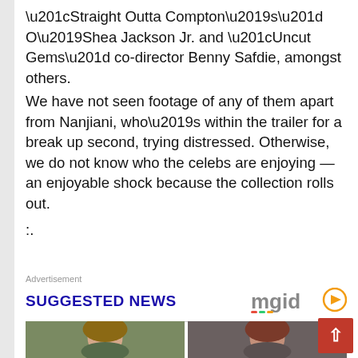“Straight Outta Compton’s” O’Shea Jackson Jr. and “Uncut Gems” co-director Benny Safdie, amongst others.
We have not seen footage of any of them apart from Nanjiani, who’s within the trailer for a break up second, trying distressed. Otherwise, we do not know who the celebs are enjoying — an enjoyable shock because the collection rolls out.
:.
Advertisement
SUGGESTED NEWS
[Figure (photo): Two side-by-side photos of women with brown hair]
[Figure (logo): mgid logo with play button icon]